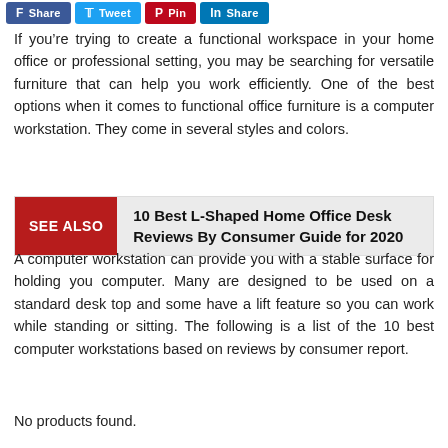[Figure (other): Social share buttons: Share (Facebook), Tweet (Twitter), Pin (Pinterest), Share (LinkedIn)]
If you’re trying to create a functional workspace in your home office or professional setting, you may be searching for versatile furniture that can help you work efficiently. One of the best options when it comes to functional office furniture is a computer workstation. They come in several styles and colors.
SEE ALSO  10 Best L-Shaped Home Office Desk Reviews By Consumer Guide for 2020
A computer workstation can provide you with a stable surface for holding you computer. Many are designed to be used on a standard desk top and some have a lift feature so you can work while standing or sitting. The following is a list of the 10 best computer workstations based on reviews by consumer report.
No products found.